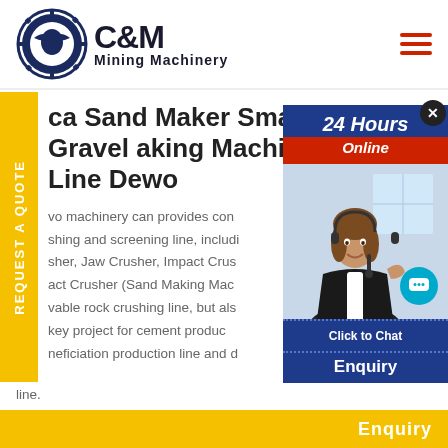[Figure (logo): C&M Mining Machinery logo with eagle gear emblem in dark navy blue]
ca Sand Maker Small Gravel aking Machine Line Dewo
vo machinery can provides con shing and screening line, includi sher, Jaw Crusher, Impact Crus act Crusher (Sand Making Mac vable rock crushing line, but als key project for cement produc neficiation production line and d line.
[Figure (photo): Customer service agent with headset, 24 Hours Online chat popup overlay with blue and red header, Click to Chat button]
Enquiry